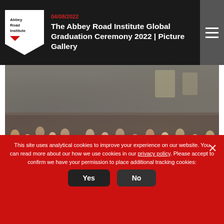04/08/2022
The Abbey Road Institute Global Graduation Ceremony 2022 | Picture Gallery
[Figure (photo): Large crowd of people seated in a hall for a graduation ceremony, photographed from above and behind. Overlaid text shows date 05/07/2022 and headline 'Ready for the 2022 Graduation Ceremony in London'.]
05/07/2022
Ready for the 2022 Graduation Ceremony in London
This site uses analytical cookies to improve your experience on our website. You can read more about our how we use cookies in our privacy policy. Please accept to confirm we have your permission to place additional tracking cookies:
Yes   No